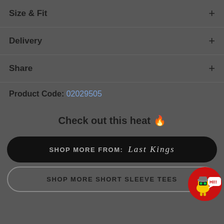Size & Fit +
Delivery +
Share +
Product Code: 02029505
Check out this heat 🔥
SHOP MORE FROM: LAST KINGS
SHOP MORE SHORT SLEEVE TEES
[Figure (illustration): Chat bot mascot badge with red circle, yellow robot character, and 'HI!!' speech bubble]